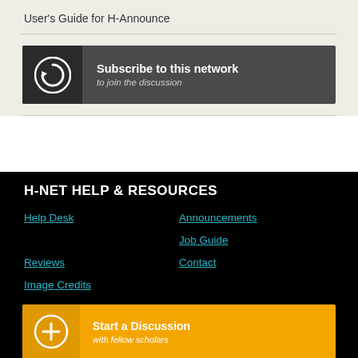User's Guide for H-Announce
[Figure (infographic): Dark grey subscribe banner with circular arrow icon and text: Subscribe to this network / to join the discussion]
H-NET HELP & RESOURCES
Help Desk
Announcements
Job Guide
Reviews
Contact
Image Credits
[Figure (infographic): Orange start a discussion banner with plus circle icon and text: Start a Discussion / with fellow scholars]